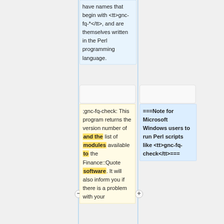have names that begin with <tt>gnc-fq-*</tt>, and are themselves written in the Perl programming language.
;gnc-fq-check: This program returns the version number of and the list of modules available to the Finance::Quote software. It will also inform you if there is a problem with your
===Note for Microsoft Windows users to run Perl scripts like <tt>gnc-fq-check</tt>===